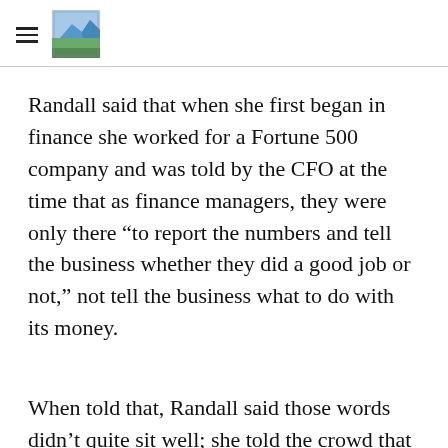[hamburger menu icon] [landscape photo logo]
Randall said that when she first began in finance she worked for a Fortune 500 company and was told by the CFO at the time that as finance managers, they were only there “to report the numbers and tell the business whether they did a good job or not,” not tell the business what to do with its money.
When told that, Randall said those words didn’t quite sit well; she told the crowd that she wondered if she had chosen the wrong career. Fortunately for her, a few years she said that while working for General Electric she was given a different perspective of the CFO’s